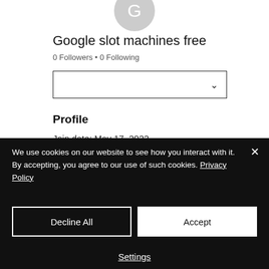[Figure (illustration): Circular avatar placeholder with letter G on grey background]
Google slot machines free
0 Followers • 0 Following
Profile
Join date: May 17, 2022
We use cookies on our website to see how you interact with it. By accepting, you agree to our use of such cookies. Privacy Policy
Decline All
Accept
Settings